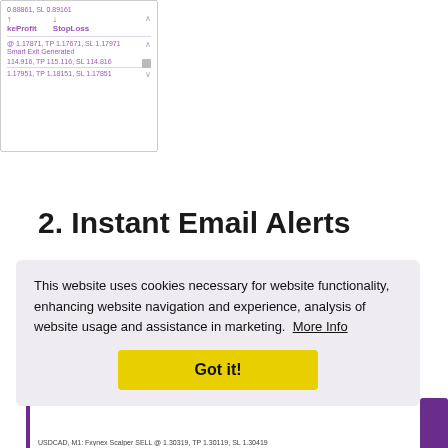[Figure (screenshot): Trading platform screenshot showing TakeProfit and StopLoss arrows with price levels including 0.88861 SL 0.89161, @ 1.17871 TP 1.17671 SL 1.17971, Smart Exit Generated, 114.916 TP 115.116 SL 114.816, 1.17951 TP 1.18151 SL 1.17851]
2. Instant Email Alerts
This website uses cookies necessary for website functionality, enhancing website navigation and experience, analysis of website usage and assistance in marketing. More Info
Got it!
USDCAD, M1: Fxynex Scalper SELL @ 1.30319, TP 1.30119, SL 1.30419